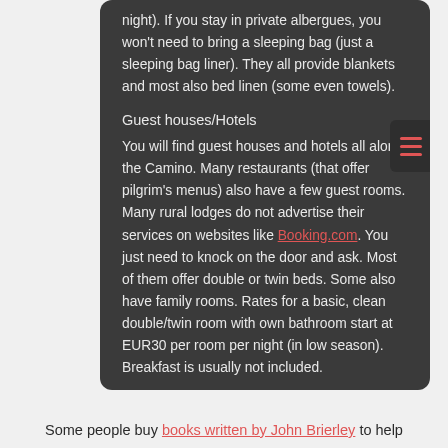night). If you stay in private albergues, you won't need to bring a sleeping bag (just a sleeping bag liner). They all provide blankets and most also bed linen (some even towels).
Guest houses/Hotels
You will find guest houses and hotels all along the Camino. Many restaurants (that offer pilgrim's menus) also have a few guest rooms. Many rural lodges do not advertise their services on websites like Booking.com. You just need to knock on the door and ask. Most of them offer double or twin beds. Some also have family rooms. Rates for a basic, clean double/twin room with own bathroom start at EUR30 per room per night (in low season). Breakfast is usually not included.
Some people buy books written by John Brierley to help